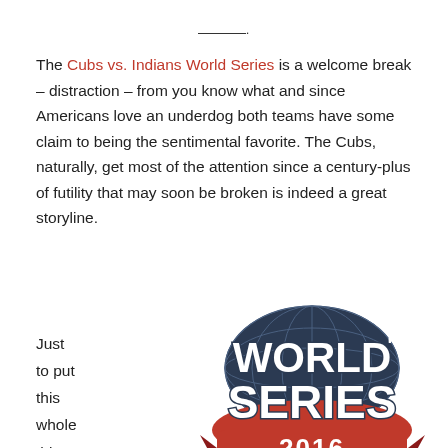———.
The Cubs vs. Indians World Series is a welcome break – distraction – from you know what and since Americans love an underdog both teams have some claim to being the sentimental favorite. The Cubs, naturally, get most of the attention since a century-plus of futility that may soon be broken is indeed a great storyline.
Just to put this whole thing in perspective
[Figure (logo): World Series 2016 official MLB logo with globe graphic, bold text reading WORLD SERIES and 2016 on a red banner, with MLB silhouette batter logo below]